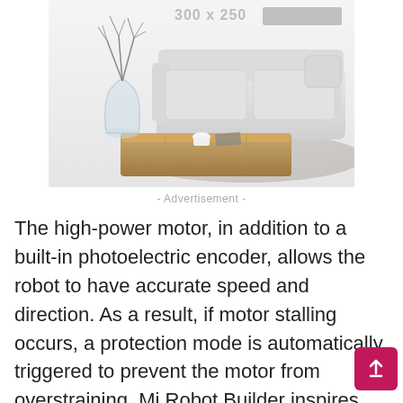[Figure (photo): Advertisement image showing a minimalist living room with a white sofa, a glass vase with bare branches, a low wooden coffee table with a white cup and small items on top, and a light grey rug. A placeholder label '300x250' is visible at the top.]
- Advertisement -
The high-power motor, in addition to a built-in photoelectric encoder, allows the robot to have accurate speed and direction. As a result, if motor stalling occurs, a protection mode is automatically triggered to prevent the motor from overstraining. Mi Robot Builder inspires kids to be creative thinkers and builders. It is our hop that this early introduction to technology and